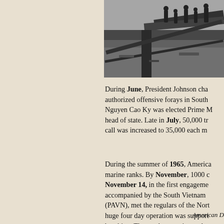[Figure (photo): Black and white photograph showing people near railroad tracks or similar infrastructure, likely Vietnam War era scene.]
During June, President Johnson cha authorized offensive forays in South Nguyen Cao Ky was elected Prime M head of state. Late in July, 50,000 tr call was increased to 35,000 each m
During the summer of 1965, America marine ranks. By November, 1000 c November 14, in the first engageme accompanied by the South Vietnam (PAVN), met the regulars of the Nort huge four day operation was support bombing. The results were inconclus American forces with heavy U.S. cas
American D